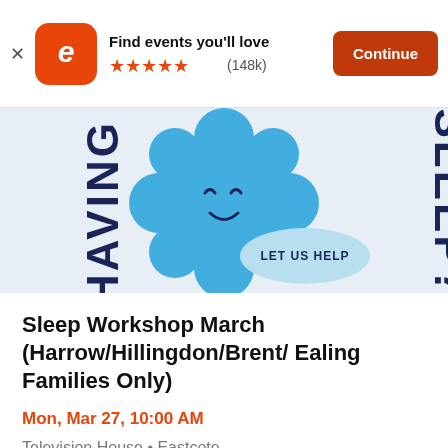[Figure (screenshot): Eventbrite app banner with orange 'e' logo icon, 'Find events you'll love' text, five orange stars rating and (148k) count, and an orange 'Continue' button]
[Figure (illustration): Sleep workshop promotional banner showing a blue smiling blob/flower character on a light grey background with dark navy bold text 'HAVING' on the left and 'SLEEP?' on the right arranged in an arc, and a light blue oval speech bubble saying 'LET US HELP']
Sleep Workshop March (Harrow/Hillingdon/Brent/ Ealing Families Only)
Mon, Mar 27, 10:00 AM
Television House • Eastcote
£0 - £10